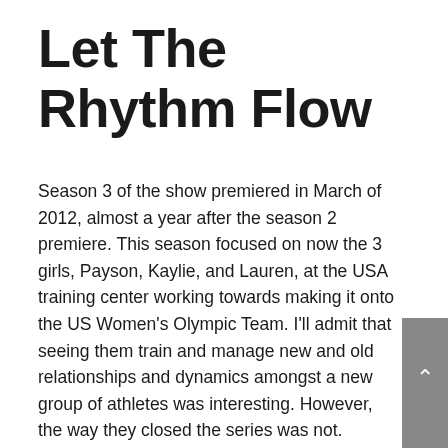Let The Rhythm Flow
Season 3 of the show premiered in March of 2012, almost a year after the season 2 premiere. This season focused on now the 3 girls, Payson, Kaylie, and Lauren, at the USA training center working towards making it onto the US Women's Olympic Team. I'll admit that seeing them train and manage new and old relationships and dynamics amongst a new group of athletes was interesting. However, the way they closed the series was not.
With the last episode of season 3 premiering in May of 2012, there was a gap between the last episode and the beginning of the 2012 Summer Olympics in July. Normally, the first half of a season premieres in